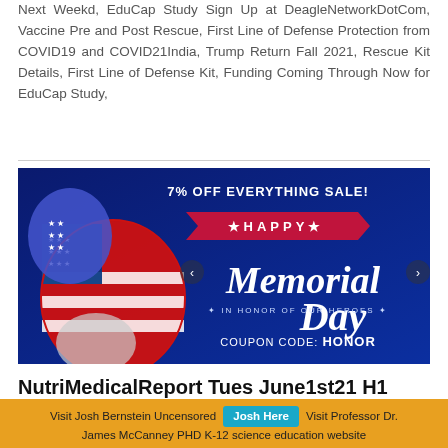Next Weekd, EduCap Study Sign Up at DeagleNetworkDotCom, Vaccine Pre and Post Rescue, First Line of Defense Protection from COVID19 and COVID21India, Trump Return Fall 2021, Rescue Kit Details, First Line of Defense Kit, Funding Coming Through Now for EduCap Study,
[Figure (illustration): Happy Memorial Day sale banner. Dark blue background with American flag balloons (red, white, blue with stars). Text: 7% OFF EVERYTHING SALE! HAPPY Memorial Day IN HONOR OF OUR HEROES COUPON CODE: HONOR]
NutriMedicalReport Tues June1st21 H1
Visit Josh Bernstein Uncensored  Josh Here  Visit Professor Dr. James McCanney PHD K-12 science education website